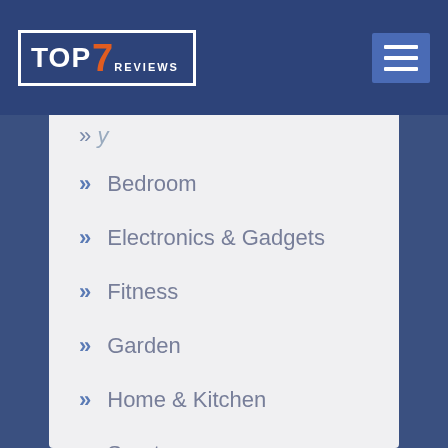[Figure (logo): Top7Reviews logo with orange 7 in white bordered box]
[Figure (other): Hamburger menu icon with three white horizontal lines on blue background]
» Bedroom
» Electronics & Gadgets
» Fitness
» Garden
» Home & Kitchen
» Sports
» Uncategorized